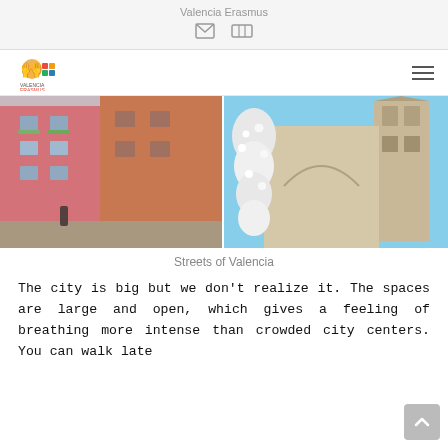Valencia Erasmus
[Figure (photo): Two side-by-side photos: left shows colorful pink and orange street buildings in Valencia; right shows a church facade decorated with white flowers and a bell tower in the background.]
Streets of Valencia
The city is big but we don’t realize it. The spaces are large and open, which gives a feeling of breathing more intense than crowded city centers. You can walk late